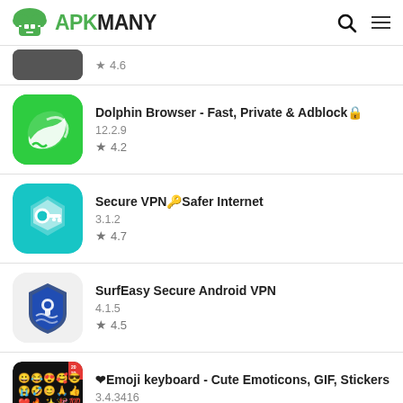APKMANY
★ 4.6 (partial row)
Dolphin Browser - Fast, Private & Adblock🔒 | 12.2.9 | ★ 4.2
Secure VPN🔑Safer Internet | 3.1.2 | ★ 4.7
SurfEasy Secure Android VPN | 4.1.5 | ★ 4.5
❤Emoji keyboard - Cute Emoticons, GIF, Stickers | 3.4.3416 | ★ 4.6